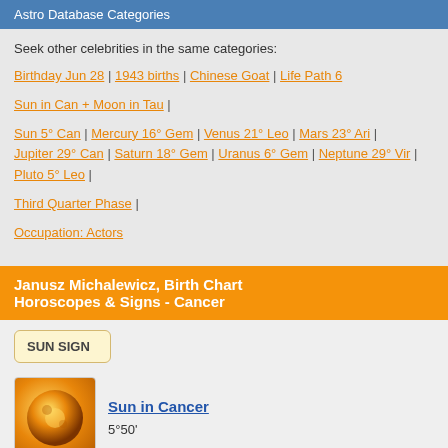Astro Database Categories
Seek other celebrities in the same categories:
Birthday Jun 28 | 1943 births | Chinese Goat | Life Path 6
Sun in Can + Moon in Tau |
Sun 5° Can | Mercury 16° Gem | Venus 21° Leo | Mars 23° Ari | Jupiter 29° Can | Saturn 18° Gem | Uranus 6° Gem | Neptune 29° Vir | Pluto 5° Leo |
Third Quarter Phase |
Occupation: Actors
Janusz Michalewicz, Birth Chart Horoscopes & Signs - Cancer
SUN SIGN
Sun in Cancer 5°50'